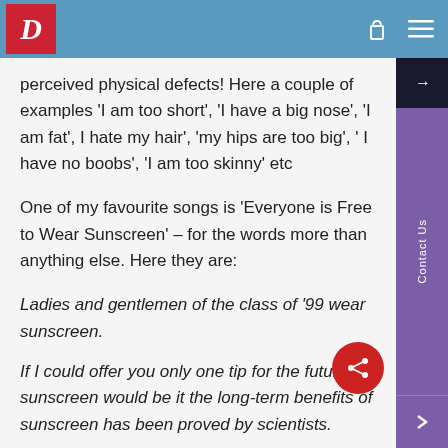D (logo) — navigation header with cart and menu icons
perceived physical defects! Here a couple of examples 'I am too short', 'I have a big nose', 'I am fat', I hate my hair', 'my hips are too big', ' I have no boobs', 'I am too skinny' etc
One of my favourite songs is 'Everyone is Free to Wear Sunscreen' – for the words more than anything else. Here they are:
Ladies and gentlemen of the class of '99 wear sunscreen.
If I could offer you only one tip for the future, sunscreen would be it the long-term benefits of sunscreen has been proved by scientists.